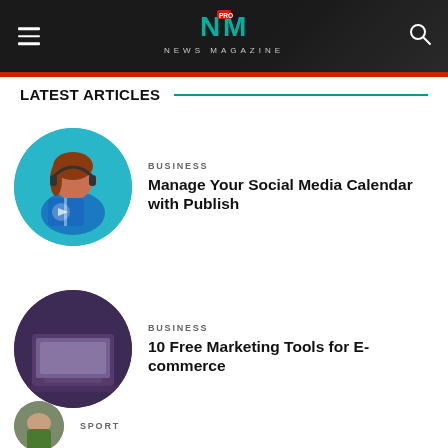NM PRO NEWS MAGAZINE
LATEST ARTICLES
[Figure (illustration): Circular illustration of a woman with headset reading a blue book on a teal background]
BUSINESS
Manage Your Social Media Calendar with Publish
[Figure (photo): Circular photo of a laptop on a dark purple/blue background]
BUSINESS
10 Free Marketing Tools for E-commerce
[Figure (photo): Circular photo partially visible at bottom, person outdoors]
SPORT